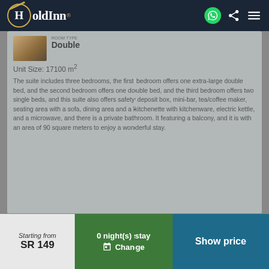HoldInn
Double
Unit Size: 17100 m²
The suite includes three bedrooms, the first bedroom offers one extra-large double bed, and the second bedroom offers one double bed, and the third bedroom offers two single beds, and this suite also offers safety deposit box, mini-bar, tea/coffee maker, seating area with a sofa, dining area and a kitchenette with kitchenware, electric kettle, and a microwave, and there is a private bathroom. It featuring a balcony, and it is with an area of 90 square meters to enjoy a wonderful stay.
Starting from
SR 149
0 night(s) stay
Change
Show price